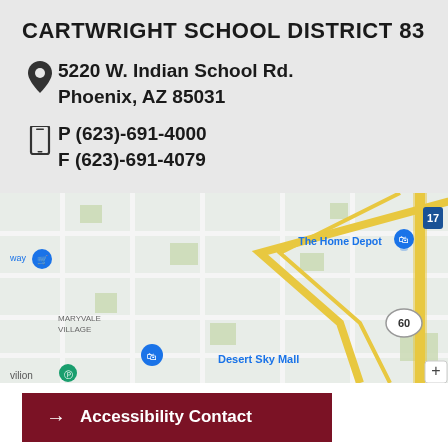CARTWRIGHT SCHOOL DISTRICT 83
5220 W. Indian School Rd.
Phoenix, AZ 85031
P (623)-691-4000
F (623)-691-4079
[Figure (map): Google Maps screenshot showing the area around Cartwright School District 83 in Phoenix, AZ. Landmarks visible include The Home Depot, Maryvale Village, Desert Sky Mall, and highway markers for routes 17 and 60. A yellow diagonal road intersects the grid.]
→ Accessibility Contact
→